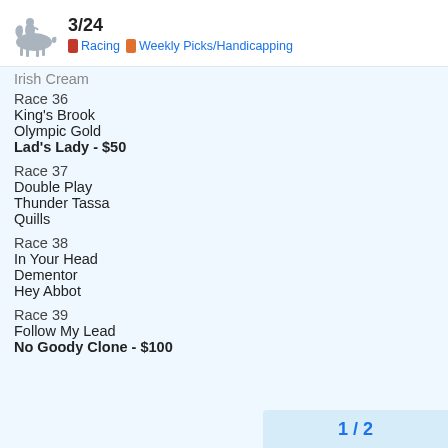3/24 — Racing, Weekly Picks/Handicapping
Irish Cream
Race 36
King's Brook
Olympic Gold
Lad's Lady - $50
Race 37
Double Play
Thunder Tassa
Quills
Race 38
In Your Head
Dementor
Hey Abbot
Race 39
Follow My Lead
No Goody Clone - $100
1 / 2